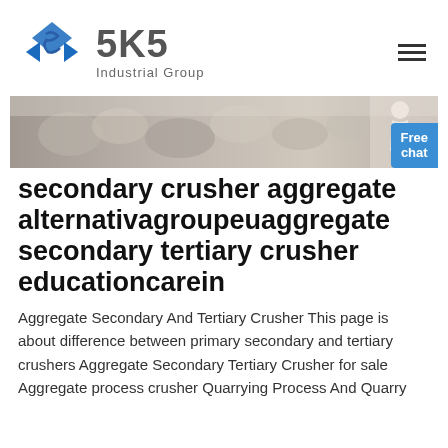[Figure (logo): SKS Industrial Group logo with blue diamond/arrow icon and grey SKS text]
[Figure (photo): Banner image showing crushed rocks/aggregate material with a person in white on the right side, and a blue Free chat button overlay]
secondary crusher aggregate alternativagroupeuaggregate secondary tertiary crusher educationcarein
Aggregate Secondary And Tertiary Crusher This page is about difference between primary secondary and tertiary crushers Aggregate Secondary Tertiary Crusher for sale Aggregate process crusher Quarrying Process And Quarry